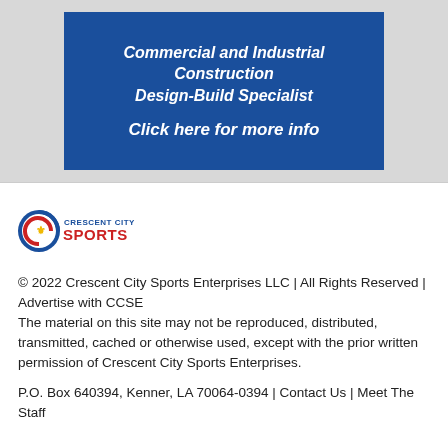[Figure (infographic): Blue banner advertisement with white bold italic text: 'Commercial and Industrial Construction Design-Build Specialist' and 'Click here for more info']
[Figure (logo): Crescent City Sports logo with circular C icon, fleur-de-lis, and text 'CRESCENT CITY SPORTS' in navy and red]
© 2022 Crescent City Sports Enterprises LLC | All Rights Reserved | Advertise with CCSE
The material on this site may not be reproduced, distributed, transmitted, cached or otherwise used, except with the prior written permission of Crescent City Sports Enterprises.
P.O. Box 640394, Kenner, LA 70064-0394 | Contact Us | Meet The Staff